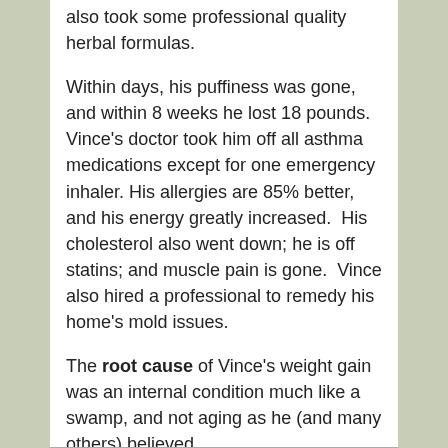also took some professional quality herbal formulas.
Within days, his puffiness was gone, and within 8 weeks he lost 18 pounds. Vince's doctor took him off all asthma medications except for one emergency inhaler. His allergies are 85% better, and his energy greatly increased.  His cholesterol also went down; he is off statins; and muscle pain is gone.  Vince also hired a professional to remedy his home's mold issues.
The root cause of Vince's weight gain was an internal condition much like a swamp, and not aging as he (and many others) believed.